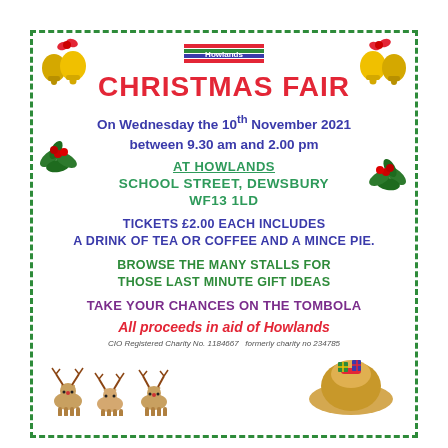[Figure (illustration): Howlands logo with colored horizontal stripes]
CHRISTMAS FAIR
On Wednesday the 10th November 2021 between 9.30 am and 2.00 pm
AT HOWLANDS
SCHOOL STREET, DEWSBURY
WF13 1LD
Tickets £2.00 each includes a drink of tea or coffee and a mince pie.
Browse the many stalls for those last minute gift ideas
Take your chances on the Tombola
All proceeds in aid of Howlands
CIO Registered Charity No. 1184667   formerly charity no 234785
[Figure (illustration): Christmas decorations: bells with red bows on left and right, holly leaves on left and right, reindeer at bottom left, Santa sack at bottom right]